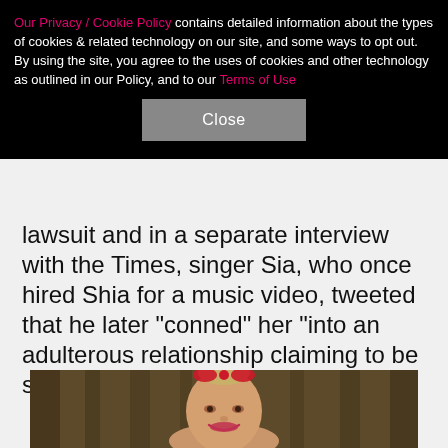Our Privacy / Cookie Policy contains detailed information about the types of cookies & related technology on our site, and some ways to opt out. By using the site, you agree to the uses of cookies and other technology as outlined in our Policy, and to our Terms of Use
Close
lawsuit and in a separate interview with the Times, singer Sia, who once hired Shia for a music video, tweeted that he later "conned" her "into an adulterous relationship claiming to be single."
[Figure (photo): Photo of a woman with blonde hair styled in an updo with a red bow headband, wearing dark clothing, standing in front of golden/brown curtains, smiling at the camera.]